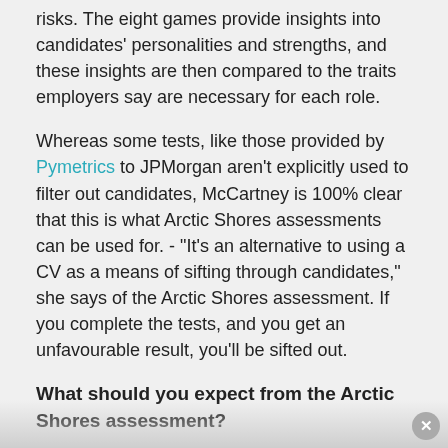risks. The eight games provide insights into candidates' personalities and strengths, and these insights are then compared to the traits employers say are necessary for each role.
Whereas some tests, like those provided by Pymetrics to JPMorgan aren't explicitly used to filter out candidates, McCartney is 100% clear that this is what Arctic Shores assessments can be used for. - "It's an alternative to using a CV as a means of sifting through candidates," she says of the Arctic Shores assessment. If you complete the tests, and you get an unfavourable result, you'll be sifted out.
What should you expect from the Arctic Shores assessment?
Arctic Shores tests involve eight assessment tasks (games) as shown in the tile below. They involve everything from a balloon game (pump up a balloon to earn money, but not too much or the balloon will burst an...